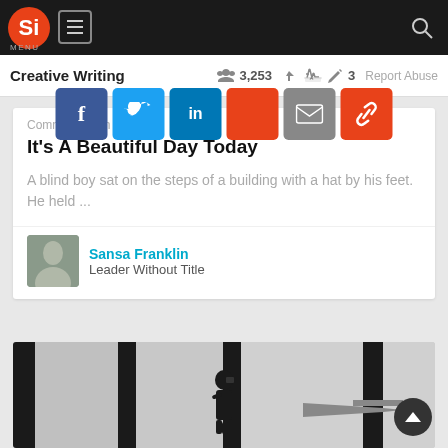[Figure (screenshot): Website navigation bar with Si logo (orange circle), menu icon, and search icon on dark background]
Creative Writing  3,253  3  Report Abuse
[Figure (infographic): Social share buttons: Facebook, Twitter, LinkedIn, Reddit/share (red), Email (gray), Link (orange)]
Communication
It's A Beautiful Day Today
A blind boy sat on the steps of a building with a hat by his feet. He held ...
Sansa Franklin
Leader Without Title
[Figure (photo): Black and white photo of a person silhouette standing at large airport windows looking out at an airplane on the tarmac]